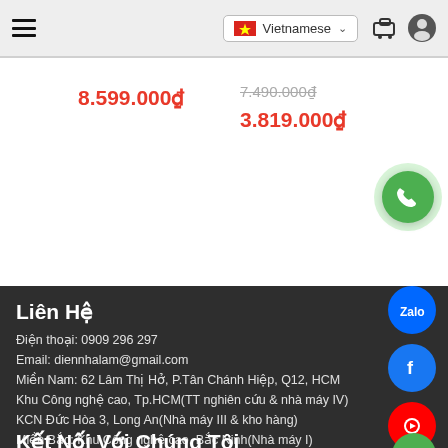Vietnamese
8.599.000₫
7.490.000₫ / 3.819.000₫
Liên Hệ
Điện thoại: 0909 296 297
Email: diennhalam@gmail.com
Miền Nam: 62 Lâm Thị Hở, P.Tân Chánh Hiệp, Q12, HCM
Khu Công nghệ cao, Tp.HCM(TT nghiên cứu & nhà máy IV)
KCN Đức Hòa 3, Long An(Nhà máy III & kho hàng)
Miền Bắc: Khu Công nghệ cao, Bắc Ninh(Nhà máy I)
Quốc lộ 17 Bắc Ninh(Tổng kho hàng)
Khu Công nghệ cao Hoà Lạc, HN(Nhà máy II)
Kết Nối Với Chúng Tôi